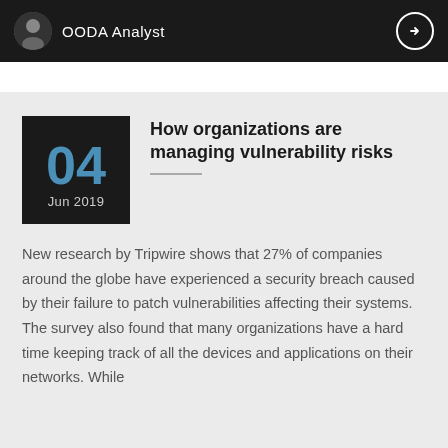OODA Analyst
How organizations are managing vulnerability risks
04 Jun 2019
New research by Tripwire shows that 27% of companies around the globe have experienced a security breach caused by their failure to patch vulnerabilities affecting their systems. The survey also found that many organizations have a hard time keeping track of all the devices and applications on their networks. While